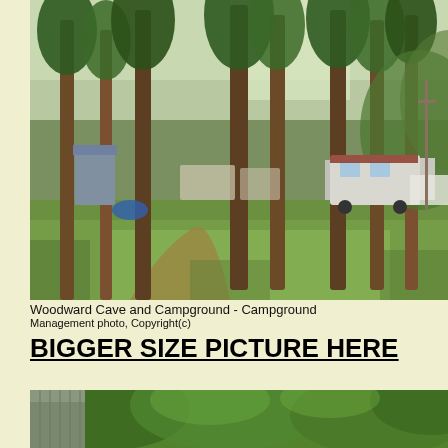[Figure (photo): Campground photo showing tall pine trees with RVs and campers visible in the background, green grass lawn in foreground, taken at Woodward Cave and Campground]
Woodward Cave and Campground - Campground
Management photo, Copyright(c)
BIGGER SIZE PICTURE HERE
[Figure (photo): Partial view of campground showing a metal shed/building on the left and dense green trees/foliage in the background]